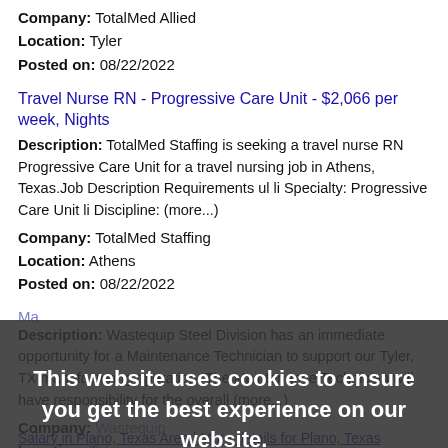Company: TotalMed Allied
Location: Tyler
Posted on: 08/22/2022
Travel Nurse RN - Progressive Care Unit - $2,066 per week, Nights
Description: TotalMed Staffing is seeking a travel nurse RN Progressive Care Unit for a travel nursing job in Athens, Texas.Job Description Requirements ul li Specialty: Progressive Care Unit li Discipline: (more...)
Company: TotalMed Staffing
Location: Athens
Posted on: 08/22/2022
Ma[cookie overlay - partially visible]
Description: Wastequip Steel Division has an immediate opportunity for a Maintenance Technician to support our Tyler, TX manufacturing operation. The Maintenance Technician will have responsibility for the overall (more...)
Company: Wastequip
Location: Tyler
Posted on: 08/22/2022
This website uses cookies to ensure you get the best experience on our website.
Learn more
Got it!
Salary in Plano, Texas Area | More details for Plano, Texas